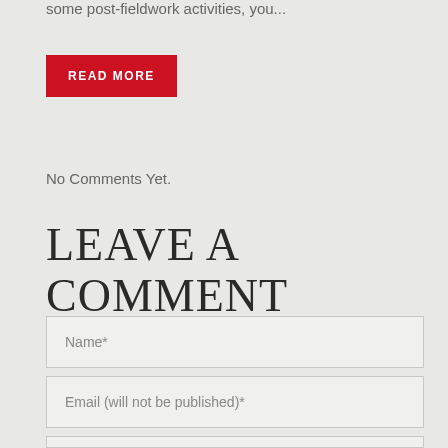some post-fieldwork activities, you...
READ MORE
No Comments Yet.
LEAVE A COMMENT
Name*
Email (will not be published)*
Website